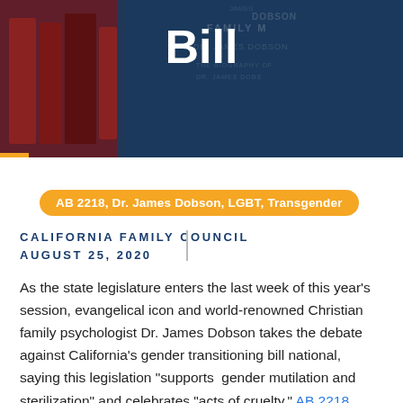[Figure (photo): Dark blue and red toned header banner with book covers in background, including Dr. James Dobson family books. Large bold white text 'Bill' centered at top.]
Bill
AB 2218, Dr. James Dobson, LGBT, Transgender
CALIFORNIA FAMILY COUNCIL
AUGUST 25, 2020
As the state legislature enters the last week of this year’s session, evangelical icon and world-renowned Christian family psychologist Dr. James Dobson takes the debate against California’s gender transitioning bill national, saying this legislation “supports  gender mutilation and sterilization” and celebrates “acts of cruelty.” AB 2218, authored by Assemblyman Miguel Santiago (D – Los Angeles), uses taxpayer dollars to fund